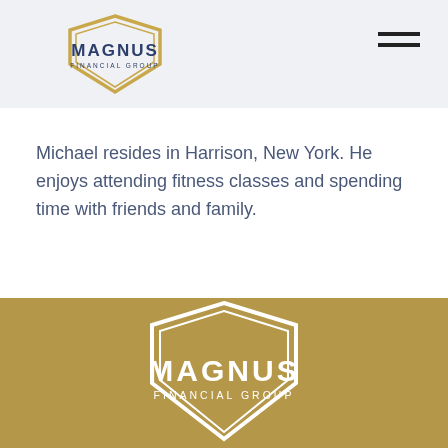[Figure (logo): Magnus Financial Group logo with gold shield and blue text, top-left header area]
Michael resides in Harrison, New York. He enjoys attending fitness classes and spending time with friends and family.
[Figure (logo): Magnus Financial Group logo in white on gold/tan background footer]